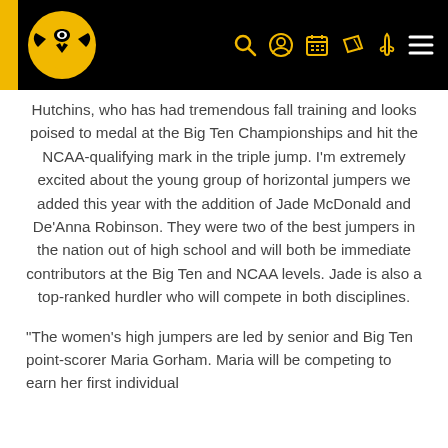Iowa Hawkeyes athletics header with logo and navigation icons
Hutchins, who has had tremendous fall training and looks poised to medal at the Big Ten Championships and hit the NCAA-qualifying mark in the triple jump. I’m extremely excited about the young group of horizontal jumpers we added this year with the addition of Jade McDonald and De’Anna Robinson. They were two of the best jumpers in the nation out of high school and will both be immediate contributors at the Big Ten and NCAA levels. Jade is also a top-ranked hurdler who will compete in both disciplines.
“The women’s high jumpers are led by senior and Big Ten point-scorer Maria Gorham. Maria will be competing to earn her first individual